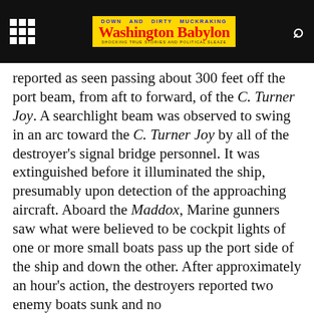Washington Babylon — Down and Dirty Muckraking
reported as seen passing about 300 feet off the port beam, from aft to forward, of the C. Turner Joy. A searchlight beam was observed to swing in an arc toward the C. Turner Joy by all of the destroyer's signal bridge personnel. It was extinguished before it illuminated the ship, presumably upon detection of the approaching aircraft. Aboard the Maddox, Marine gunners saw what were believed to be cockpit lights of one or more small boats pass up the port side of the ship and down the other. After approximately an hour's action, the destroyers reported two enemy boats sunk and no damage or casualties suffered.
This website uses cookies to improve your experience. We'll assume you're ok with this, but you can opt-out if you wish.
Accept   Read More